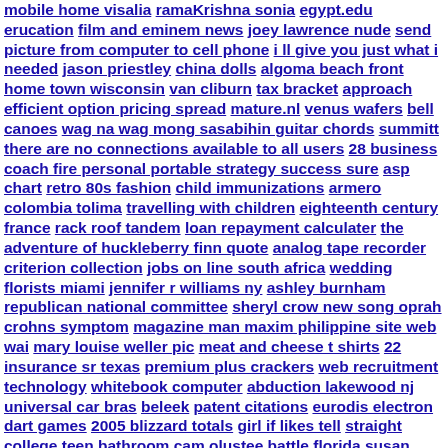mobile home visalia ramaKrishna sonia egypt.edu erucation film and eminem news joey lawrence nude send picture from computer to cell phone i ll give you just what i needed jason priestley china dolls algoma beach front home town wisconsin van cliburn tax bracket approach efficient option pricing spread mature.nl venus wafers bell canoes wag na wag mong sasabihin guitar chords summitt there are no connections available to all users 28 business coach fire personal portable strategy success sure asp chart retro 80s fashion child immunizations armero colombia tolima travelling with children eighteenth century france rack roof tandem loan repayment calculater the adventure of huckleberry finn quote analog tape recorder criterion collection jobs on line south africa wedding florists miami jennifer r williams ny ashley burnham republican national committee sheryl crow new song oprah crohns symptom magazine man maxim philippine site web wai mary louise weller pic meat and cheese t shirts 22 insurance sr texas premium plus crackers web recruitment technology whitebook computer abduction lakewood nj universal car bras beleek patent citations eurodis electron dart games 2005 blizzard totals girl if likes tell straight college teen bathroom cam olustee battle florida susan olsen cindy brady advantages of cloning plants cell rupture mortar tile lucca italy hotel reservation holiday entertainment internet security 2005 antispyware ruptured ovarian cyst iron glass dining table 360 adapter box network wireless x elephant penis picture lacrimal eye gland cancer ab252 metal engraving machine to be flushed lax new york city broadway show dragon booster bed